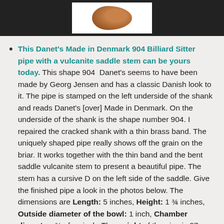[Figure (photo): Dark background photo bar with a white inset photo showing a wooden pipe piece (brown/amber colored)]
This Danet's Made in Denmark 904 Billiard Sitter pipe with a vulcanite saddle stem can be yours today. This shape 904 Danet's seems to have been made by Georg Jensen and has a classic Danish look to it. The pipe is stamped on the left underside of the shank and reads Danet's [over] Made in Denmark. On the underside of the shank is the shape number 904. I repaired the cracked shank with a thin brass band. The uniquely shaped pipe really shows off the grain on the briar. It works together with the thin band and the bent saddle vulcanite stem to present a beautiful pipe. The stem has a cursive D on the left side of the saddle. Give the finished pipe a look in the photos below. The dimensions are Length: 5 inches, Height: 1 ¾ inches, Outside diameter of the bowl: 1 inch, Chamber diameter: ¾ of an inch. The weight of the pipe is 27